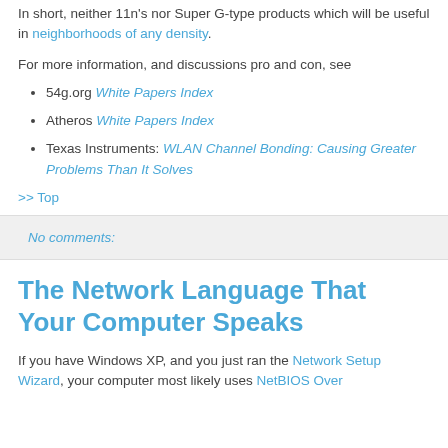In short, neither 11n's nor Super G-type products which will be useful in neighborhoods of any density.
For more information, and discussions pro and con, see
54g.org White Papers Index
Atheros White Papers Index
Texas Instruments: WLAN Channel Bonding: Causing Greater Problems Than It Solves
>> Top
No comments:
The Network Language That Your Computer Speaks
If you have Windows XP, and you just ran the Network Setup Wizard, your computer most likely uses NetBIOS Over